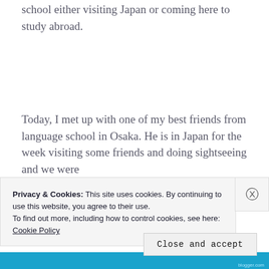school either visiting Japan or coming here to study abroad.
Today, I met up with one of my best friends from language school in Osaka. He is in Japan for the week visiting some friends and doing sightseeing and we were
Privacy & Cookies: This site uses cookies. By continuing to use this website, you agree to their use.
To find out more, including how to control cookies, see here:
Cookie Policy
Close and accept